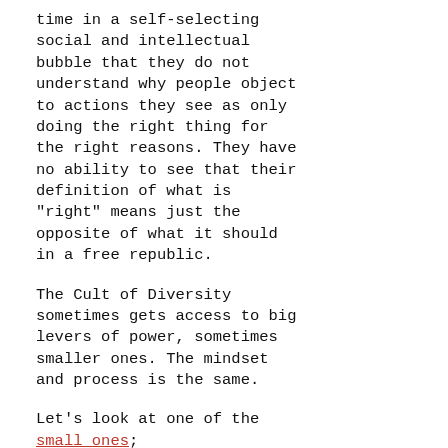time in a self-selecting social and intellectual bubble that they do not understand why people object to actions they see as only doing the right thing for the right reasons. They have no ability to see that their definition of what is "right" means just the opposite of what it should in a free republic.
The Cult of Diversity sometimes gets access to big levers of power, sometimes smaller ones. The mindset and process is the same.
Let's look at one of the small ones;
On Oct. 6, Everett Middle School welcomed a